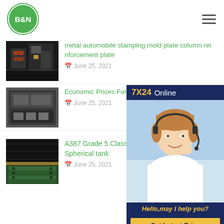B&N
metal automobile stamping mold plate column reinforcement plate — June 25, 2021
Economic Prices Forged 4130 Steel — June 25, 2021
[Figure (infographic): 7X24 Online chat widget with customer service representative photo and 'Hello,may I help you?' message and Get Latest Price button]
A387 Grade 5 Class1 rolling steel plate for Spherical tank — June 25, 2021